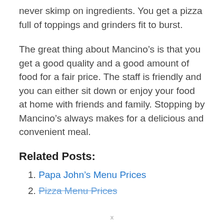never skimp on ingredients. You get a pizza full of toppings and grinders fit to burst.
The great thing about Mancino’s is that you get a good quality and a good amount of food for a fair price. The staff is friendly and you can either sit down or enjoy your food at home with friends and family. Stopping by Mancino’s always makes for a delicious and convenient meal.
Related Posts:
1. Papa John’s Menu Prices
2. Pizza Menu Prices